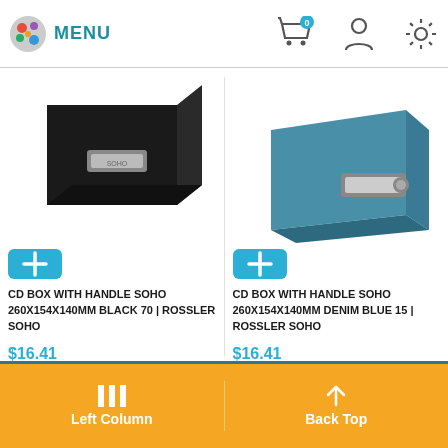MENU
[Figure (photo): Black CD box with handle, SOHO style]
[Figure (photo): Denim blue CD box with handle, SOHO style]
CD BOX WITH HANDLE SOHO 260X154X140MM BLACK 70 | ROSSLER SOHO
CD BOX WITH HANDLE SOHO 260X154X140MM DENIM BLUE 15 | ROSSLER SOHO
$16.41
$16.41
Left Column  Back Top